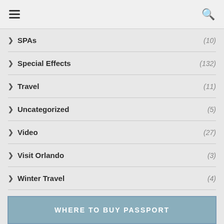Navigation menu and search icons
SPAs (10)
Special Effects (132)
Travel (11)
Uncategorized (5)
Video (27)
Visit Orlando (3)
Winter Travel (4)
[Figure (screenshot): Partial banner at bottom reading WHERE TO BUY PASSPORT]